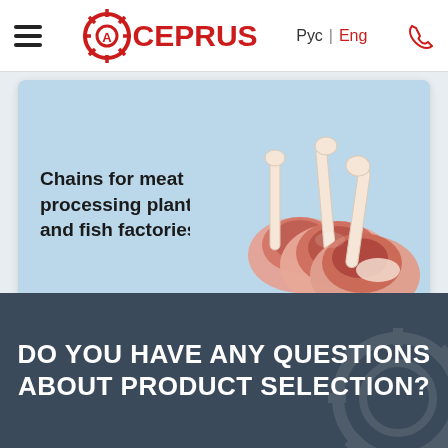ACEPRUS — Рус | Eng
Chains for meat processing plants and fish factories
[Figure (photo): Raw meat chops (lamb cutlets) displayed on the right side of the blue card]
DO YOU HAVE ANY QUESTIONS ABOUT PRODUCT SELECTION?